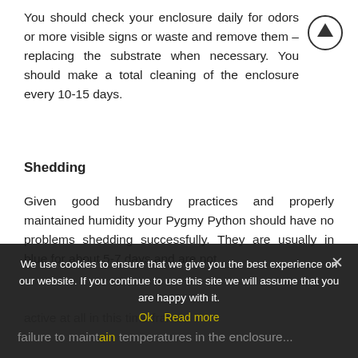You should check your enclosure daily for odors or more visible signs or waste and remove them – replacing the substrate when necessary. You should make a total cleaning of the enclosure every 10-15 days.
Shedding
Given good husbandry practices and properly maintained humidity your Pygmy Python should have no problems shedding successfully. They are usually in blue for about 5-7 days and are not active at all in this time frame.
Failure to maintain temperatures in the enclosure...
We use cookies to ensure that we give you the best experience on our website. If you continue to use this site we will assume that you are happy with it.